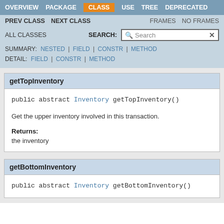OVERVIEW  PACKAGE  CLASS  USE  TREE  DEPRECATED
PREV CLASS  NEXT CLASS  FRAMES  NO FRAMES
ALL CLASSES  SEARCH:
SUMMARY: NESTED | FIELD | CONSTR | METHOD
DETAIL: FIELD | CONSTR | METHOD
getTopInventory
public abstract Inventory getTopInventory()
Get the upper inventory involved in this transaction.
Returns:
the inventory
getBottomInventory
public abstract Inventory getBottomInventory()